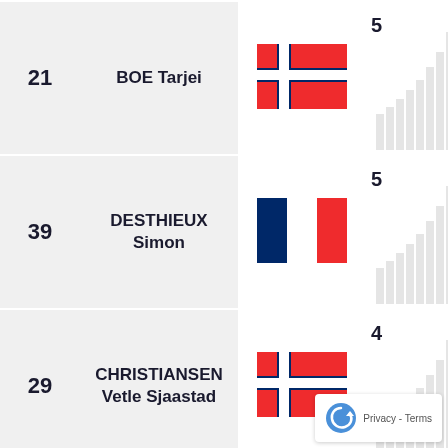| # | Name | Flag | Score |
| --- | --- | --- | --- |
| 21 | BOE Tarjei | Norway | 5 |
| 39 | DESTHIEUX Simon | France | 5 |
| 29 | CHRISTIANSEN Vetle Sjaastad | Norway | 4 |
[Figure (logo): reCAPTCHA logo with Privacy - Terms text overlay in bottom right corner]